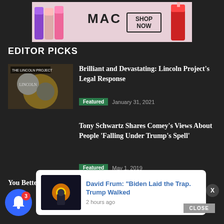[Figure (illustration): MAC Cosmetics advertisement banner with lipsticks and SHOP NOW button]
EDITOR PICKS
[Figure (photo): Lincoln Project article thumbnail with Abraham Lincoln portrait and other figures]
Brilliant and Devastating: Lincoln Project's Legal Response
Featured   January 31, 2021
Tony Schwartz Shares Comey's Views About People 'Falling Under Trump's Spell'
Featured   May 1, 2019
You Better Watch Out, the Xians Are
[Figure (photo): Notification popup showing Biden explosion photo]
David Frum: “Biden Laid the Trap. Trump Walked
2 hours ago